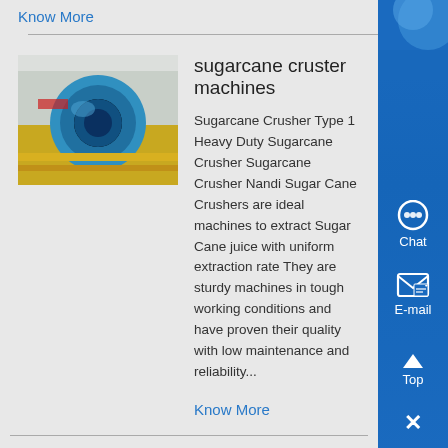Know More
[Figure (photo): Industrial sugarcane crusher machine, large blue/teal circular component visible]
sugarcane cruster machines
Sugarcane Crusher Type 1 Heavy Duty Sugarcane Crusher Sugarcane Crusher Nandi Sugar Cane Crushers are ideal machines to extract Sugar Cane juice with uniform extraction rate They are sturdy machines in tough working conditions and have proven their quality with low maintenance and reliability...
Know More
[Figure (photo): Cylindrical granite crushing equipment or granite core samples, brown/grey tones]
Proposal For Granite Crushing
Research crushing of granite occasioresearch crushing of granite occa...